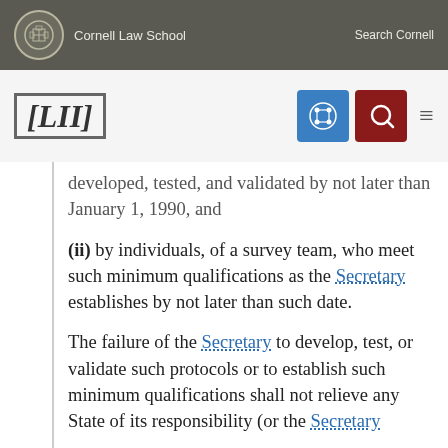Cornell Law School | Search Cornell
[Figure (logo): LII Legal Information Institute logo with navigation icons]
developed, tested, and validated by not later than January 1, 1990, and
(ii) by individuals, of a survey team, who meet such minimum qualifications as the Secretary establishes by not later than such date.
The failure of the Secretary to develop, test, or validate such protocols or to establish such minimum qualifications shall not relieve any State of its responsibility (or the Secretary